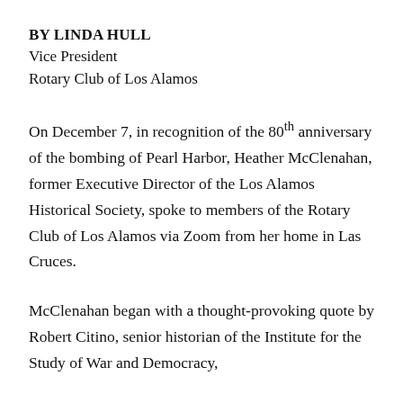BY LINDA HULL
Vice President
Rotary Club of Los Alamos
On December 7, in recognition of the 80th anniversary of the bombing of Pearl Harbor, Heather McClenahan, former Executive Director of the Los Alamos Historical Society, spoke to members of the Rotary Club of Los Alamos via Zoom from her home in Las Cruces.
McClenahan began with a thought-provoking quote by Robert Citino, senior historian of the Institute for the Study of War and Democracy,